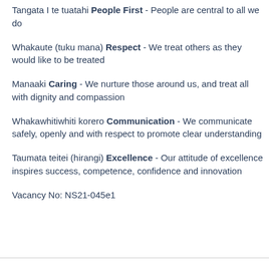Tangata I te tuatahi People First - People are central to all we do
Whakaute (tuku mana) Respect - We treat others as they would like to be treated
Manaaki Caring - We nurture those around us, and treat all with dignity and compassion
Whakawhitiwhiti korero Communication - We communicate safely, openly and with respect to promote clear understanding
Taumata teitei (hirangi) Excellence - Our attitude of excellence inspires success, competence, confidence and innovation
Vacancy No: NS21-045e1